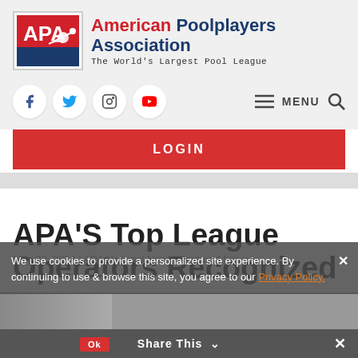[Figure (logo): American Poolplayers Association logo with APA text in red and blue, billiard player silhouette, and tagline 'The World's Largest Pool League']
[Figure (infographic): Navigation bar with social media icons (Facebook, Twitter, Instagram, YouTube) and hamburger MENU icon with search icon]
LOGIN
APA'S Top League Operators Recognized
May 22, 2014 | APA National News, Featured News
We use cookies to provide a personalized site experience. By continuing to use & browse this site, you agree to our Privacy Policy.
Share This